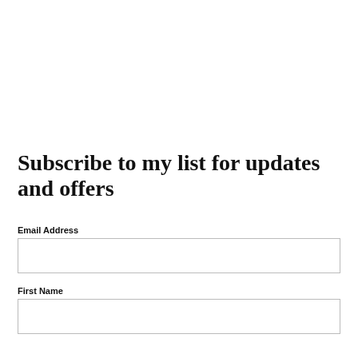Subscribe to my list for updates and offers
Email Address
First Name